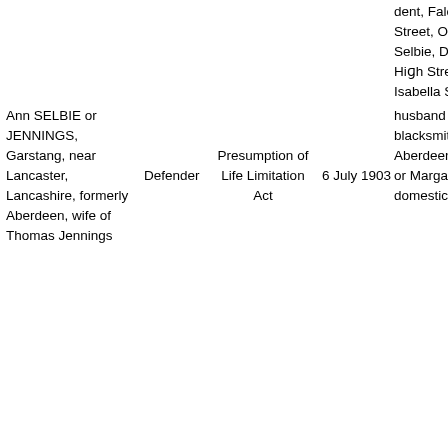| Party | Role | Action Type | Date | Parties/Details |
| --- | --- | --- | --- | --- |
| Ann SELBIE or JENNINGS, Garstang, near Lancaster, Lancashire, formerly Aberdeen, wife of Thomas Jennings | Defender | Presumption of Life Limitation Act | 6 July 1903 | dent, Falcon Buildings, Dunbar Street, Old Aberdeen, Robert Selbie, Dee Street, formerly 19 High Street, Old Aberdeen, Isabella Selbie or Webster, and husband George Webster, blacksmith, 49 John Street, Aberdeen, and Margaret Selbie or Margaret Selbie Murray, domestic |